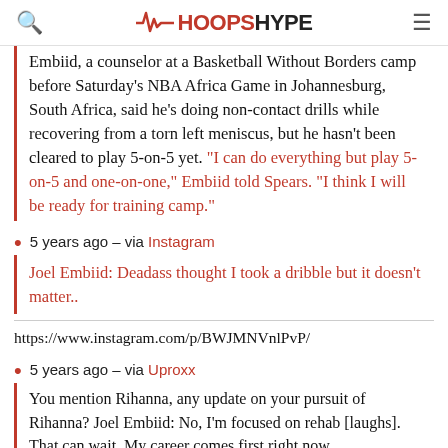HOOPSHYPE
Embiid, a counselor at a Basketball Without Borders camp before Saturday's NBA Africa Game in Johannesburg, South Africa, said he's doing non-contact drills while recovering from a torn left meniscus, but he hasn't been cleared to play 5-on-5 yet. "I can do everything but play 5-on-5 and one-on-one," Embiid told Spears. "I think I will be ready for training camp."
5 years ago – via Instagram
Joel Embiid: Deadass thought I took a dribble but it doesn't matter..
https://www.instagram.com/p/BWJMNVnlPvP/
5 years ago – via Uproxx
You mention Rihanna, any update on your pursuit of Rihanna? Joel Embiid: No, I'm focused on rehab [laughs]. That can wait. My career comes first right now.